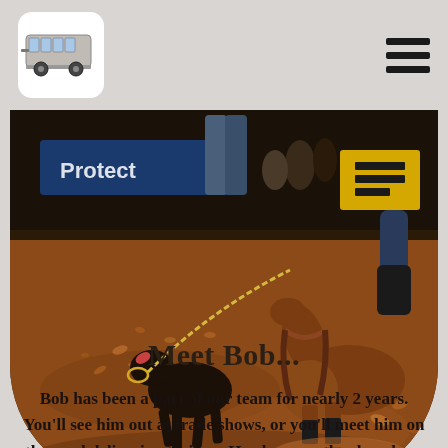[Logo] [Hamburger menu]
[Figure (photo): Rodeo arena photo showing a calf roping scene. A black calf runs in red dirt arena with a lasso rope on its neck, and a horse with brown coat and black leg wraps chases alongside. Arena signage visible in blurred background including 'Protect' banner. Action shot with dust and dirt flying.]
Meet Bob...
Bob has been a part of our team for nearly 2 years. You'll see him out at trade shows, or you'll meet him on the road delivering trailers. He also runs the show here at the office from time to